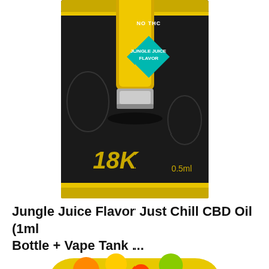[Figure (photo): Product photo of a CBD vape cartridge with black and gold packaging labeled '18K', 'NO THC', 'JUNGLE JUICE FLAVOR', and '0.5ml'. The cartridge has a gold top and silver connector, shown against a dark background with gold accents.]
Jungle Juice Flavor Just Chill CBD Oil (1ml Bottle + Vape Tank ...
[Figure (photo): Product photo of Just Chill CBD Oil bottle with jungle juice flavor. Black and yellow packaging with cartoon 'Just Chill Products' branding. Shows a vape tank/cartridge in front of the bottle. Features tropical fruits (orange, pineapple, strawberry) on top and says 'SHAKE WELL BEFORE USE'. Badge shows '1ml'.]